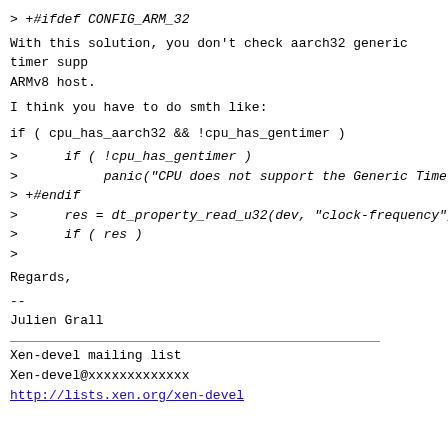> +#ifdef CONFIG_ARM_32
With this solution, you don't check aarch32 generic timer support on ARMv8 host.
I think you have to do smth like:
if ( cpu_has_aarch32 && !cpu_has_gentimer )
>      if ( !cpu_has_gentimer )
>           panic("CPU does not support the Generic Timer v1 in...
> +#endif
>      res = dt_property_read_u32(dev, "clock-frequency", &rat...
>      if ( res )
>
Regards,
--
Julien Grall
Xen-devel mailing list
Xen-devel@xxxxxxxxxxxxx
http://lists.xen.org/xen-devel